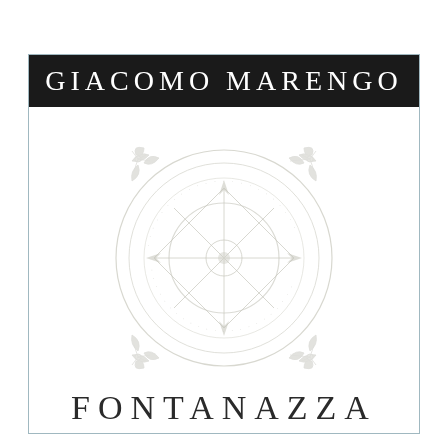GIACOMO MARENGO
[Figure (logo): Circular emblem/seal with compass rose and decorative botanical ornaments at four corners, rendered in very light grey/white watermark style on white background]
FONTANAZZA